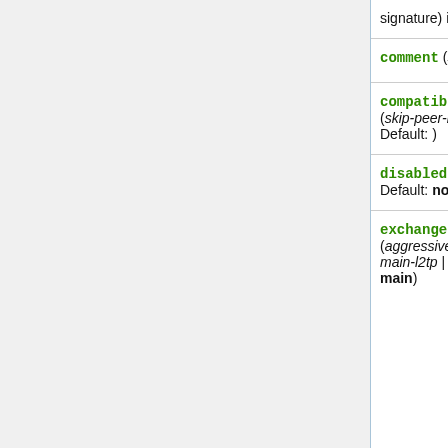| Parameter | Description |
| --- | --- |
| (signature) is used |  |
| comment (string; Default: ) | Short description o |
| compatibility-options (skip-peer-id-validation; Default: ) | Compatibility optio with peers not foll guidelines. |
| disabled (yes | no; Default: no) | Whether peer is u match remote pee |
| exchange-mode (aggressive | base | main | main-l2tp | ike2; Default: main) | Different ISAKMP exchange modes RFC 2408. Do not modes then main know what you are main-l2tp mode r rfc2409 section 5. pre-shared-key au in main mode. ike enables Ikev2 RF Parameters that a by Ikev2 proposal compatibility |